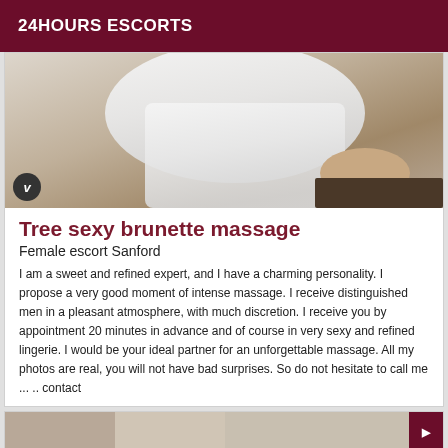24HOURS ESCORTS
[Figure (photo): Photo of a woman in a white dress, cropped torso view, sitting near a surface]
Tree sexy brunette massage
Female escort Sanford
I am a sweet and refined expert, and I have a charming personality. I propose a very good moment of intense massage. I receive distinguished men in a pleasant atmosphere, with much discretion. I receive you by appointment 20 minutes in advance and of course in very sexy and refined lingerie. I would be your ideal partner for an unforgettable massage. All my photos are real, you will not have bad surprises. So do not hesitate to call me ... .. contact
[Figure (photo): Partial photo of another listing at the bottom of the page]